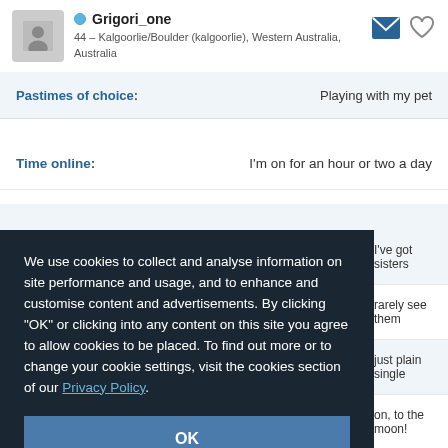Grigori_one — 44 – Kalgoorlie/Boulder (kalgoorlie), Western Australia, Australia
Pastimes of choice: Playing with my pet
Time online: I'm on for an hour or two a day
I've got sisters
rarely see them
just plain single
on, to the moon!
I like animals
We use cookies to collect and analyse information on site performance and usage, and to enhance and customise content and advertisements. By clicking "OK" or clicking into any content on this site you agree to allow cookies to be placed. To find out more or to change your cookie settings, visit the cookies section of our Privacy Policy.